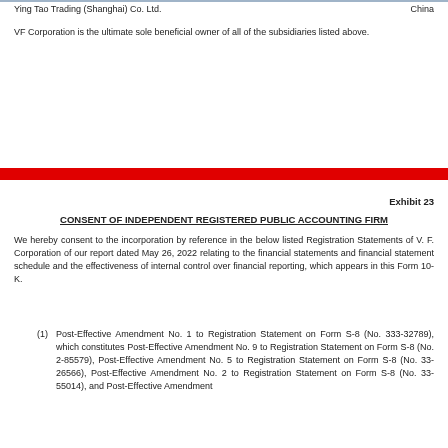Ying Tao Trading (Shanghai) Co. Ltd.    China
VF Corporation is the ultimate sole beneficial owner of all of the subsidiaries listed above.
Exhibit 23
CONSENT OF INDEPENDENT REGISTERED PUBLIC ACCOUNTING FIRM
We hereby consent to the incorporation by reference in the below listed Registration Statements of V. F. Corporation of our report dated May 26, 2022 relating to the financial statements and financial statement schedule and the effectiveness of internal control over financial reporting, which appears in this Form 10-K.
(1) Post-Effective Amendment No. 1 to Registration Statement on Form S-8 (No. 333-32789), which constitutes Post-Effective Amendment No. 9 to Registration Statement on Form S-8 (No. 2-85579), Post-Effective Amendment No. 5 to Registration Statement on Form S-8 (No. 33-26566), Post-Effective Amendment No. 2 to Registration Statement on Form S-8 (No. 33-55014), and Post-Effective Amendment